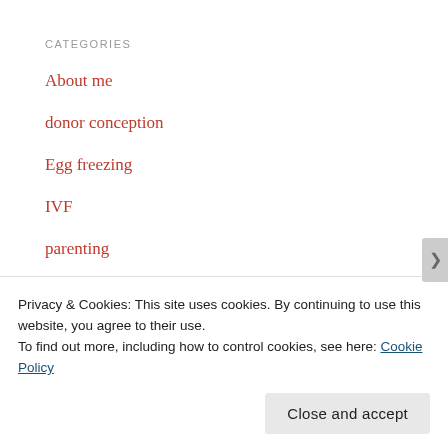CATEGORIES
About me
donor conception
Egg freezing
IVF
parenting
Single
solo motherhood
Uncategorized
Privacy & Cookies: This site uses cookies. By continuing to use this website, you agree to their use.
To find out more, including how to control cookies, see here: Cookie Policy
Close and accept